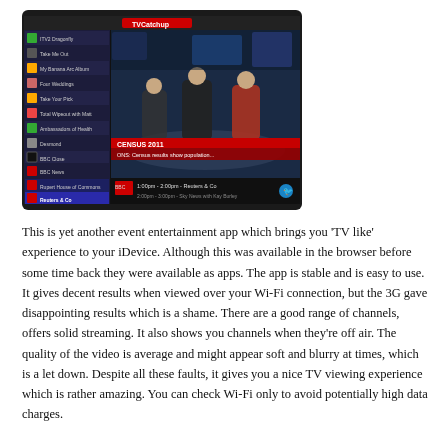[Figure (screenshot): Screenshot of a TV streaming app on an iPad showing a news broadcast with a channel guide on the left side and a currently selected BBC news channel playing video content. A lower-third graphic reads 'CENSUS 2011'. The bottom bar shows '1:00pm - 2:00pm - Reuters & Co' and '2:00pm - 3:00pm - Sky News with Kay Burley'.]
This is yet another event entertainment app which brings you 'TV like' experience to your iDevice. Although this was available in the browser before some time back they were available as apps. The app is stable and is easy to use. It gives decent results when viewed over your Wi-Fi connection, but the 3G gave disappointing results which is a shame. There are a good range of channels, offers solid streaming. It also shows you channels when they're off air. The quality of the video is average and might appear soft and blurry at times, which is a let down. Despite all these faults, it gives you a nice TV viewing experience which is rather amazing. You can check Wi-Fi only to avoid potentially high data charges.